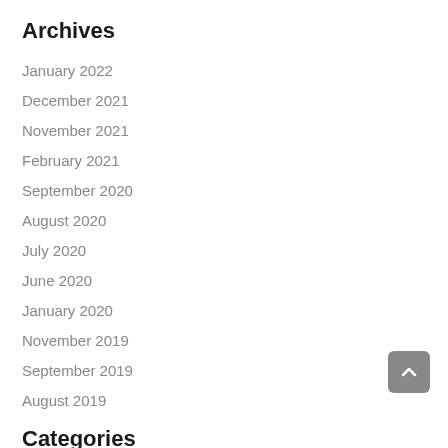Archives
January 2022
December 2021
November 2021
February 2021
September 2020
August 2020
July 2020
June 2020
January 2020
November 2019
September 2019
August 2019
Categories